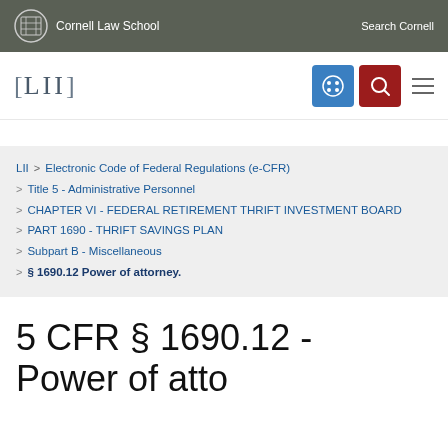Cornell Law School | Search Cornell
[Figure (logo): LII (Legal Information Institute) logo with navigation icons]
LII > Electronic Code of Federal Regulations (e-CFR) > Title 5 - Administrative Personnel > CHAPTER VI - FEDERAL RETIREMENT THRIFT INVESTMENT BOARD > PART 1690 - THRIFT SAVINGS PLAN > Subpart B - Miscellaneous > § 1690.12 Power of attorney.
5 CFR § 1690.12 - Power of attorney.